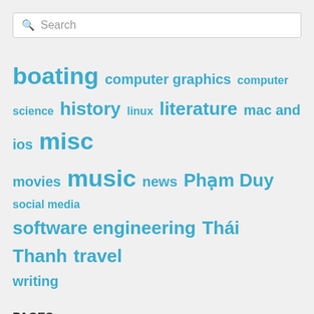Search
boating computer graphics computer science history linux literature mac and ios misc movies music news Phạm Duy social media software engineering Thái Thanh travel writing
PAGES
Bắc hành – 2014
Bắc hành – 2015
Bắc hành – 2016
Bắc hành – 2017
Côn Đảo – 2013